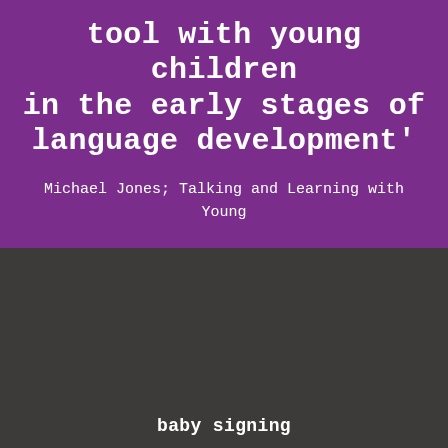tool with young children in the early stages of language development'
Michael Jones; Talking and Learning with Young Children
baby signing